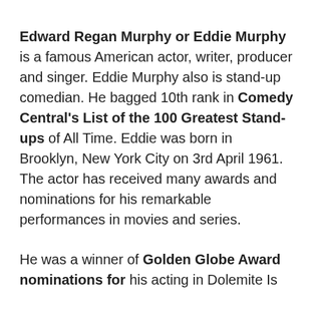Edward Regan Murphy or Eddie Murphy is a famous American actor, writer, producer and singer. Eddie Murphy also is stand-up comedian. He bagged 10th rank in Comedy Central's List of the 100 Greatest Stand-ups of All Time. Eddie was born in Brooklyn, New York City on 3rd April 1961. The actor has received many awards and nominations for his remarkable performances in movies and series.

He was a winner of Golden Globe Award nominations for his acting in Dolemite Is